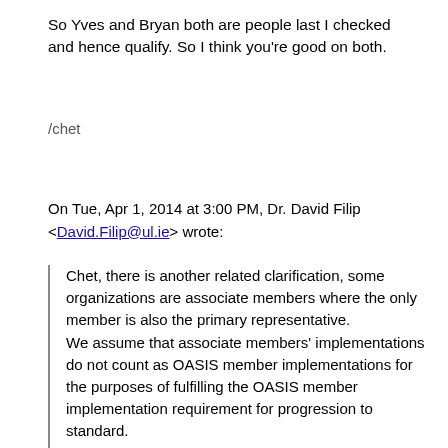So Yves and Bryan both are people last I checked and hence qualify. So I think you're good on both.
/chet
On Tue, Apr 1, 2014 at 3:00 PM, Dr. David Filip <David.Filip@ul.ie> wrote:
Chet, there is another related clarification, some organizations are associate members where the only member is also the primary representative.
We assume that associate members' implementations do not count as OASIS member implementations for the purposes of fulfilling the OASIS member implementation requirement for progression to standard.

However, those members are bound with OASIS IPR policies through their respective memberships.
To be specific, Yves is a primary member of an associate member, Bryan is an individual member on his own.

I actually do not think that we are likely to get or need an outside OASIS SOU from the questionnaire at this stage if Yves or Bryan are considered OASIS members that are...